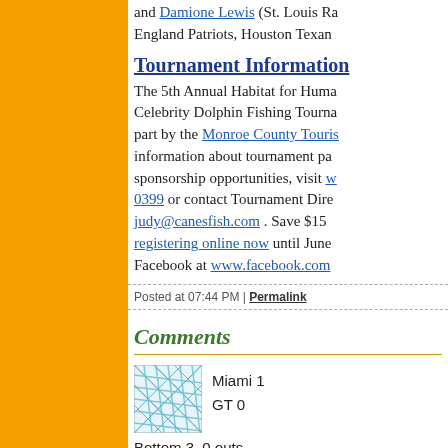and Damione Lewis (St. Louis Ra... England Patriots, Houston Texan...
Tournament Information
The 5th Annual Habitat for Huma... Celebrity Dolphin Fishing Tourna... part by the Monroe County Touris... information about tournament pa... sponsorship opportunities, visit w... 0399 or contact Tournament Dire... judy@canesfish.com . Save $150... registering online now until June... Facebook at www.facebook.com...
Posted at 07:44 PM | Permalink
Comments
[Figure (map): Small map thumbnail showing road network of Miami area, light blue/teal on white grid]
Miami 1
GT 0
Bottom 3, 0 outs